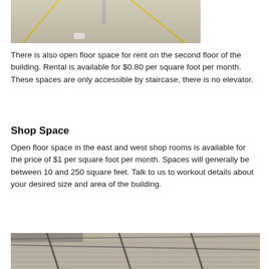[Figure (photo): Interior photo of a large open floor space with yellow line markings on a concrete floor, shot from inside a warehouse/building.]
There is also open floor space for rent on the second floor of the building. Rental is available for $0.80 per square foot per month. These spaces are only accessible by staircase, there is no elevator.
Shop Space
Open floor space in the east and west shop rooms is available for the price of $1 per square foot per month. Spaces will generally be between 10 and 250 square feet. Talk to us to workout details about your desired size and area of the building.
[Figure (photo): Interior photo of a large industrial shop/warehouse space showing the ceiling structure with beams and metal roof panels.]